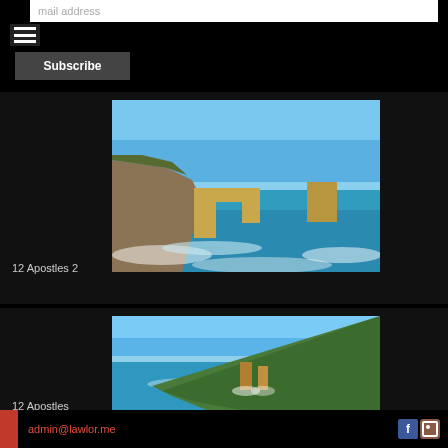mail address
[Figure (photo): Coastal landscape with limestone rock arch and cliffs at the Twelve Apostles, Victoria, Australia. Blue sky, turquoise ocean waves breaking on rocky shore.]
12 Apostles 2
[Figure (photo): Coastal landscape with limestone sea stacks at the Twelve Apostles, Victoria, Australia. Aerial/elevated view showing cliffs, blue ocean and green hillside.]
12 Apostles
admin@lawlor.me